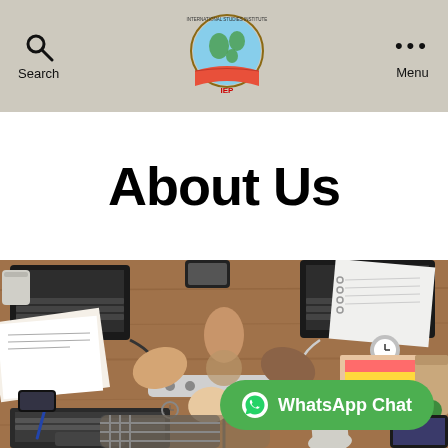Search  [IEP Logo]  Menu
About Us
[Figure (photo): Overhead view of people sitting around a wooden desk with laptops, papers, notebooks, and a power strip, doing a group fist bump in the center of the table.]
WhatsApp Chat